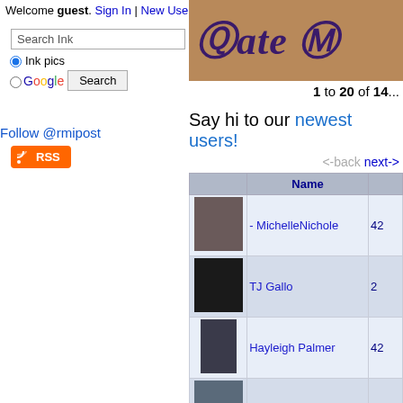Welcome guest. Sign In | New User Sign Up | Post Picture | Gallery
Search Ink (search box)
Ink pics (radio selected), Google (radio), Search (button)
Follow @rmipost
RSS
[Figure (photo): Tattoo image showing cursive gothic text 'Kate M...' on skin]
1 to 20 of 14...
Say hi to our newest users!
<-back  next->
| (thumb) | Name | (count) |
| --- | --- | --- |
| (photo) | - MichelleNichole | 42 |
| (photo) | TJ Gallo | 2 |
| (photo) | Hayleigh Palmer | 42 |
| (photo) | Ink2thebone | 22 |
| (photo) | Brian | 1 |
| (photo) | Bill | 2 |